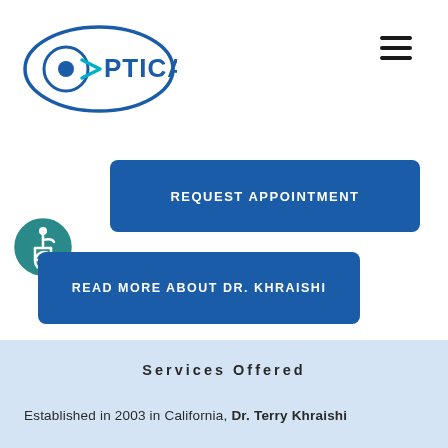[Figure (logo): Optica eye care logo — blue oval outline with a stylized eye/arrow graphic and the text OPTICA in blue]
[Figure (other): Hamburger menu icon with three horizontal lines]
REQUEST APPOINTMENT
[Figure (other): Accessibility icon — teal circle with a wheelchair user symbol]
READ MORE ABOUT DR. KHRAISHI
Services Offered
Established in 2003 in California, Dr. Terry Khraishi